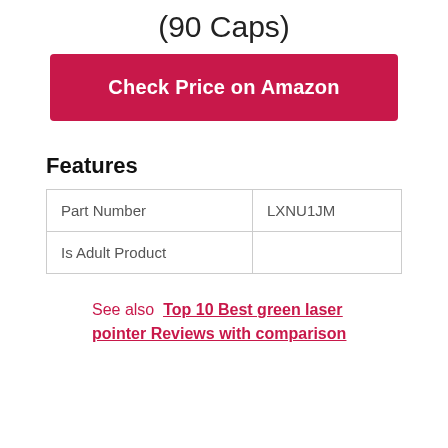(90 Caps)
Check Price on Amazon
Features
|  |  |
| --- | --- |
| Part Number | LXNU1JM |
| Is Adult Product |  |
See also  Top 10 Best green laser pointer Reviews with comparison